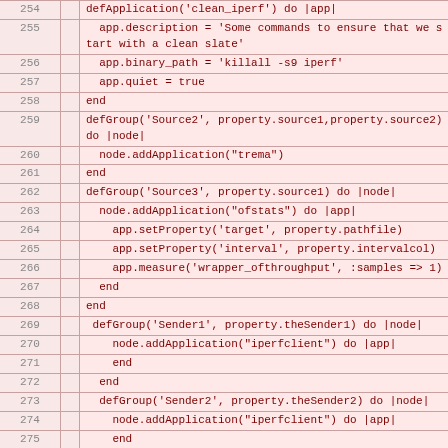[Figure (screenshot): Code listing showing Ruby/DSL code lines 254-279, with line numbers in a left column and code in a pink-highlighted right column. The code defines applications and groups including clean_iperf, Source2, Source3, Sender1, Sender2, Sender3.]